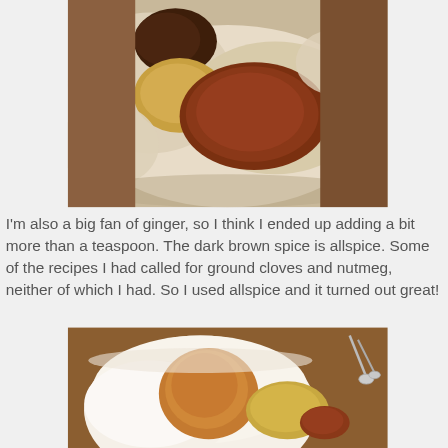[Figure (photo): A bowl containing flour and various spices including a dark brown pile (allspice), a golden-yellow pile (ginger), and a reddish-brown pile (cinnamon), with a whisk visible at the right edge.]
I'm also a big fan of ginger, so I think I ended up adding a bit more than a teaspoon. The dark brown spice is allspice. Some of the recipes I had called for ground cloves and nutmeg, neither of which I had. So I used allspice and it turned out great!
[Figure (photo): A bowl with white sugar, brown sugar, and ginger powder, with metal measuring spoons visible in the background on a wooden surface.]